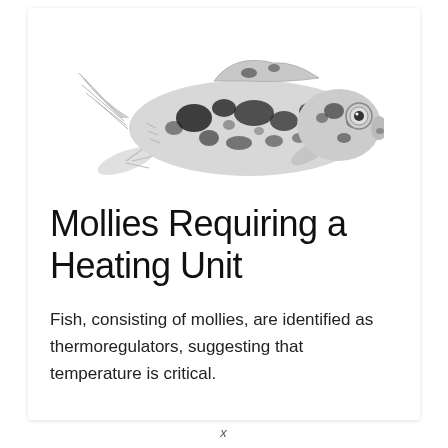[Figure (photo): A black and white spotted molly fish on a white background, facing right.]
Mollies Requiring a Heating Unit
Fish, consisting of mollies, are identified as thermoregulators, suggesting that temperature is critical.